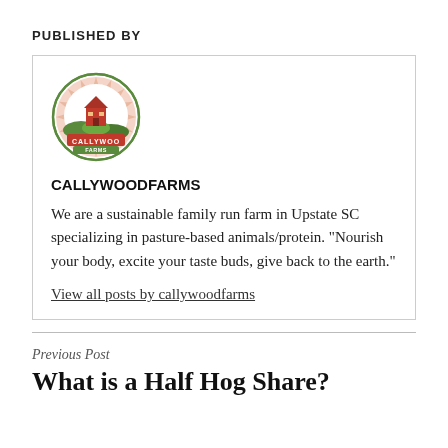PUBLISHED BY
[Figure (logo): Callywoodfarms circular farm logo with red barn, green hills, and red banner]
CALLYWOODFARMS
We are a sustainable family run farm in Upstate SC specializing in pasture-based animals/protein. "Nourish your body, excite your taste buds, give back to the earth."
View all posts by callywoodfarms
Previous Post
What is a Half Hog Share?